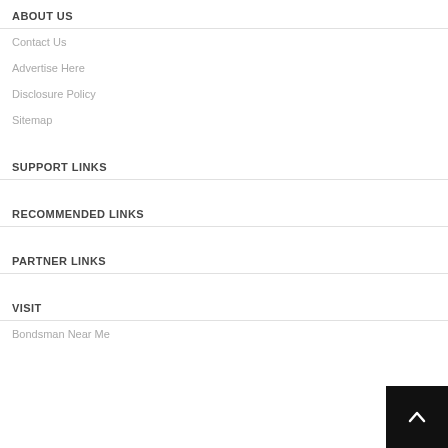ABOUT US
Contact Us
Advertise Here
Disclosure Policy
Sitemap
SUPPORT LINKS
RECOMMENDED LINKS
PARTNER LINKS
VISIT
Bondsman Near Me